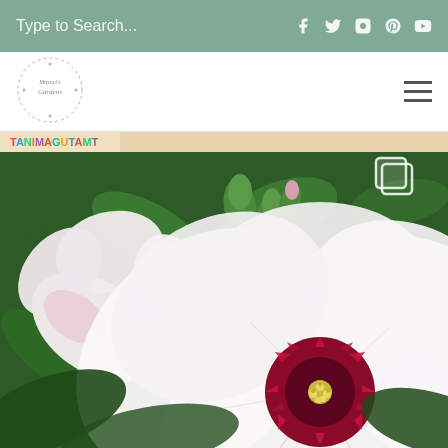Type to Search...
[Figure (logo): Circular logo with script text 'Mayuri's Gardens' with floral wreath border]
[Figure (photo): Close-up photo of white hibiscus flowers with dark crimson/magenta centers and green buds on lush green foliage background]
[Figure (photo): Colorful banner strip with text 'TANIMAGUTAMT' in multi-colored letters]